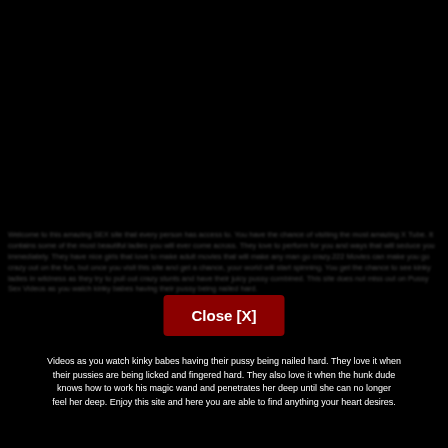Welcome to this amazing SEX site that every person has access to. You have the chance of visiting the most amazing X Tube. It contains some of the most beautiful ladies you will ever come across. They love to perform for you and ways that will seduce you immediately. They have nice girls that love to make adult movies that will make any man go crazy.222 Movies can make you go crazy out on the fun, but once you visit this site and get a chance, your world will start spinning. You get the chance to see kinky ladies in wildness as they try to pull out crazy stunts and have their juicy pussy combined. This site does not miss out on Pussy Sex Videos as you watch kinky babes having their pussy being nailed hard. They love it when their pussies are being licked and fingered hard. They also love it when the hunk dude knows how to work his magic wand and penetrates her deep until she can no longer feel her deep. Enjoy this site and here you are able to find anything your heart desires.